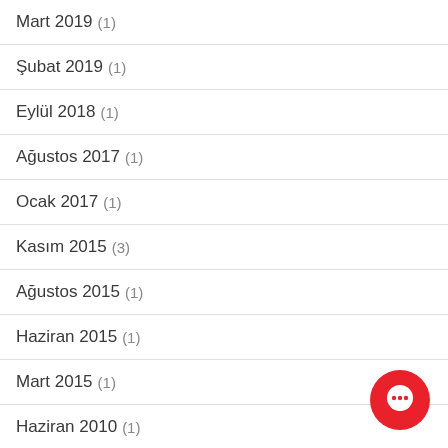Mart 2019 (1)
Şubat 2019 (1)
Eylül 2018 (1)
Ağustos 2017 (1)
Ocak 2017 (1)
Kasım 2015 (3)
Ağustos 2015 (1)
Haziran 2015 (1)
Mart 2015 (1)
Haziran 2010 (1)
[Figure (illustration): Red circular chat button with white speech bubble icon in the bottom right corner]